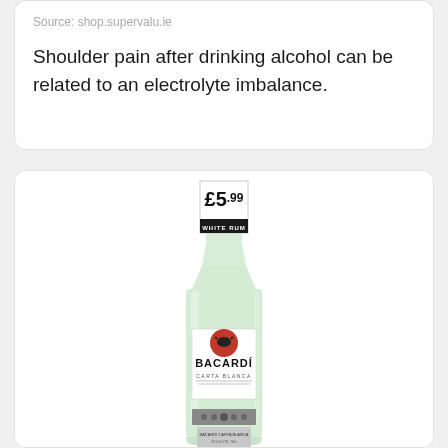Source: shop.supervalu.ie
Shoulder pain after drinking alcohol can be related to an electrolyte imbalance.
[Figure (photo): A bottle of Bacardí Carta Blanca white rum with a price tag showing £5.99 and a WHITE RUM label on the neck.]